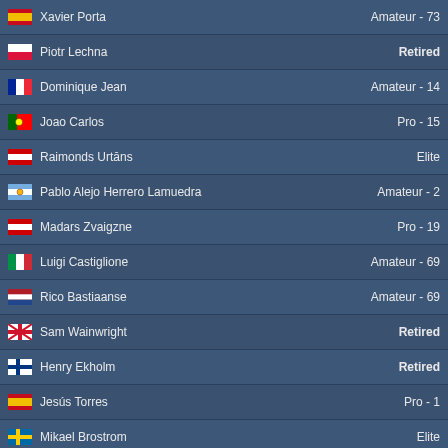| Name | Status |
| --- | --- |
| Xavier Porta | Amateur - 73 |
| Piotr Lechna | Retired |
| Dominique Jean | Amateur - 14 |
| Joao Carlos | Pro - 15 |
| Raimonds Urtans | Elite |
| Pablo Alejo Herrero Lamuedra | Amateur - 2 |
| Madars Zvaigzne | Pro - 19 |
| Luigi Castiglione | Amateur - 69 |
| Rico Bastiaanse | Amateur - 69 |
| Sam Wainwright | Retired |
| Henry Ekholm | Retired |
| Jesús Torres | Pro - 1 |
| Mikael Brostrom | Elite |
| Dominik Karda | Pro - 6 |
| Mike Bennett | Master - 1 |
| Guido Simonetta | Pro - 22 |
Strana [1] 2 3 4 5 »
© Grand Prix Racing O
Podmienky užívania | Och